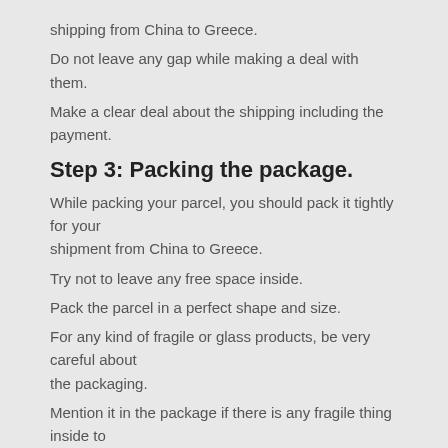shipping from China to Greece.
Do not leave any gap while making a deal with them.
Make a clear deal about the shipping including the payment.
Step 3: Packing the package.
While packing your parcel, you should pack it tightly for your shipment from China to Greece.
Try not to leave any free space inside.
Pack the parcel in a perfect shape and size.
For any kind of fragile or glass products, be very careful about the packaging.
Mention it in the package if there is any fragile thing inside to maintain safety measures.
Step 4: Proper paperworks.
You have to retain some proper documentation for your shipping from China to Greece.
You should keep a copy of papers to yourself also for your shipment from China to Greece..